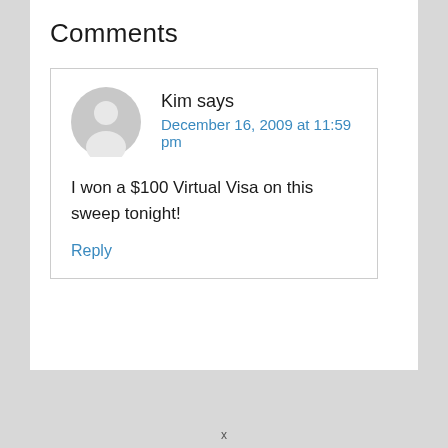Comments
[Figure (illustration): Generic user avatar: gray circle with white silhouette of a person (head and shoulders)]
Kim says
December 16, 2009 at 11:59 pm
I won a $100 Virtual Visa on this sweep tonight!
Reply